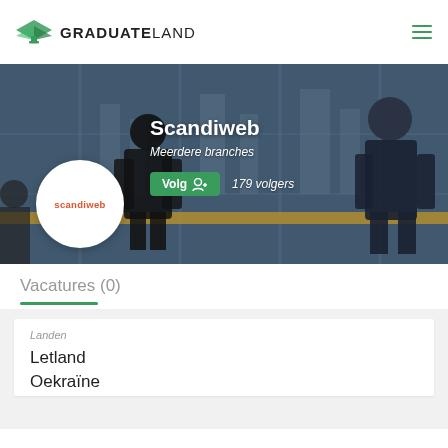[Figure (logo): GraduateLand logo with green graduation cap icon and bold text GRADUATELAND]
[Figure (photo): Hero banner with businesspeople in a high-rise office with city view, showing Scandiweb company profile with circular logo, company name, branches info, follow button and follower count]
Vacatures (0)
Landen
Letland
Oekraïne